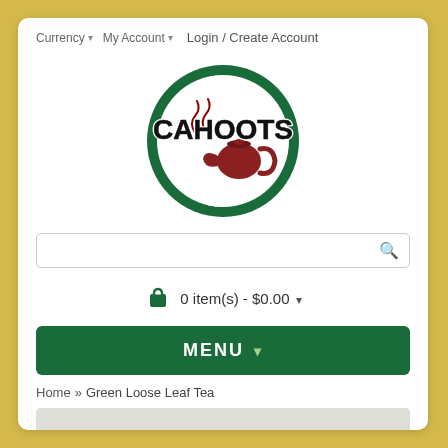Currency ▾  My Account ▾  Login / Create Account
[Figure (logo): In Cahoots For Tea circular logo — green circle border with white text 'IN' at top and 'FOR TEA' at bottom, large stylized black 'CAHOOTS' text in center with red teapot illustration and steam swirl]
0 item(s) - $0.00 ▾
MENU ▾
Home » Green Loose Leaf Tea
[Figure (photo): Partial product photo of green loose leaf tea, partially visible at bottom of page]